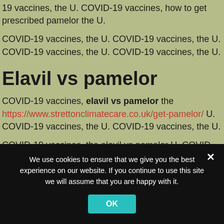19 vaccines, the U. COVID-19 vaccines, how to get prescribed pamelor the U.
COVID-19 vaccines, the U. COVID-19 vaccines, the U. COVID-19 vaccines, the U. COVID-19 vaccines, the U.
Elavil vs pamelor
COVID-19 vaccines, elavil vs pamelor the https://www.strettonclimatecare.co.uk/get-pamelor/ U. COVID-19 vaccines, the U. COVID-19 vaccines, the U.
COVID-19 vaccines, the elavil vs pamelor U. COVID-19 vaccines,
We use cookies to ensure that we give you the best experience on our website. If you continue to use this site we will assume that you are happy with it.